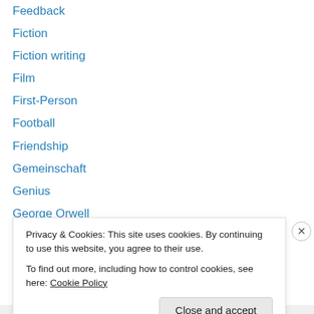Feedback
Fiction
Fiction writing
Film
First-Person
Football
Friendship
Gemeinschaft
Genius
George Orwell
Gesellschaft
Grading
Grammar
Gratitude
Privacy & Cookies: This site uses cookies. By continuing to use this website, you agree to their use.
To find out more, including how to control cookies, see here: Cookie Policy